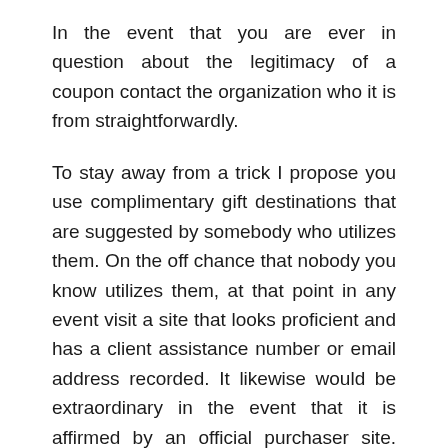In the event that you are ever in question about the legitimacy of a coupon contact the organization who it is from straightforwardly.
To stay away from a trick I propose you use complimentary gift destinations that are suggested by somebody who utilizes them. On the off chance that nobody you know utilizes them, at that point in any event visit a site that looks proficient and has a client assistance number or email address recorded. It likewise would be extraordinary in the event that it is affirmed by an official purchaser site. Recollect before you input any close to home data on any site, think first, am I happy with giving this information? On the off chance that you have any delay, do not do it No complimentary gift merits the problem of